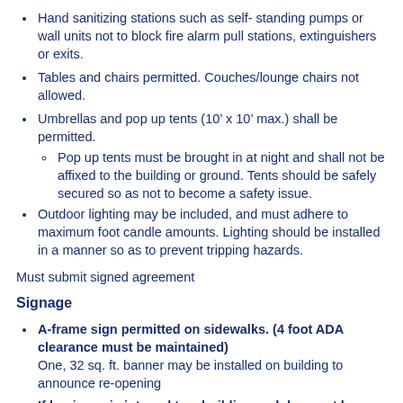Hand sanitizing stations such as self- standing pumps or wall units not to block fire alarm pull stations, extinguishers or exits.
Tables and chairs permitted. Couches/lounge chairs not allowed.
Umbrellas and pop up tents (10’ x 10’ max.) shall be permitted.
Pop up tents must be brought in at night and shall not be affixed to the building or ground. Tents should be safely secured so as not to become a safety issue.
Outdoor lighting may be included, and must adhere to maximum foot candle amounts. Lighting should be installed in a manner so as to prevent tripping hazards.
Must submit signed agreement
Signage
A-frame sign permitted on sidewalks. (4 foot ADA clearance must be maintained) One, 32 sq. ft. banner may be installed on building to announce re-opening
If business is internal to a building and does not have street frontage, a banner/sign (32 sq. ft.) may be